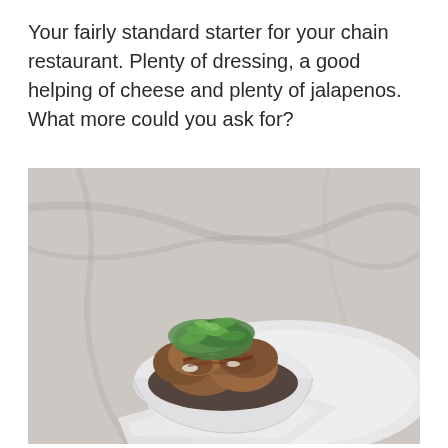Your fairly standard starter for your chain restaurant. Plenty of dressing, a good helping of cheese and plenty of jalapenos. What more could you ask for?
[Figure (photo): A bowl of fried food topped with green jalapenos, melted cheese, and sauce, served in a white bowl on a white plate with a napkin, on a marble surface.]